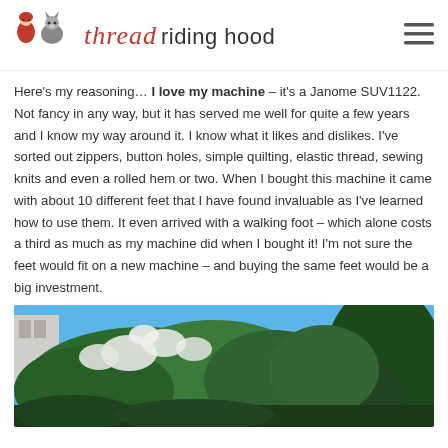thread riding hood
Here's my reasoning… I love my machine – it's a Janome SUV1122. Not fancy in any way, but it has served me well for quite a few years and I know my way around it. I know what it likes and dislikes. I've sorted out zippers, button holes, simple quilting, elastic thread, sewing knits and even a rolled hem or two. When I bought this machine it came with about 10 different feet that I have found invaluable as I've learned how to use them. It even arrived with a walking foot – which alone costs a third as much as my machine did when I bought it! I'm not sure the feet would fit on a new machine – and buying the same feet would be a big investment.
[Figure (photo): Outdoor photo showing green trees with white blossoms against a bright blue sky, with a building partially visible on the left.]